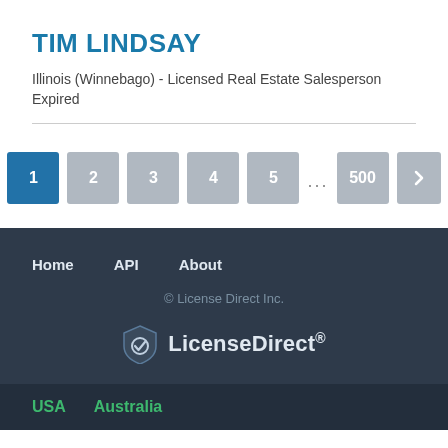TIM LINDSAY
Illinois (Winnebago) - Licensed Real Estate Salesperson
Expired
[Figure (other): Pagination controls showing pages 1 (active/blue), 2, 3, 4, 5, ..., 500 and a next arrow button]
Home  API  About
© License Direct Inc.
LicenseDirect®
USA  Australia